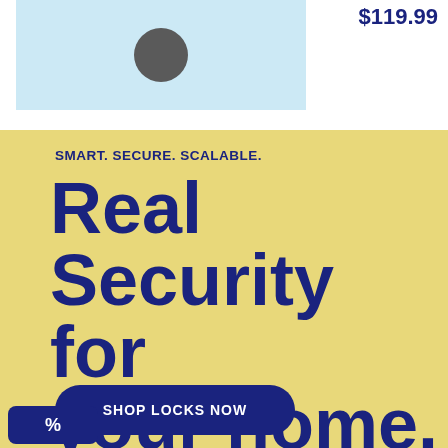[Figure (photo): Product image of a smart lock on light blue background with price $119.99]
$119.99
SMART. SECURE. SCALABLE.
Real Security for your home.
SHOP LOCKS NOW
[Figure (other): Blue badge with percent symbol icon]